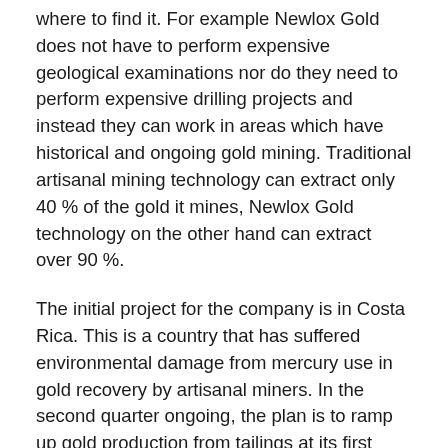where to find it. For example Newlox Gold does not have to perform expensive geological examinations nor do they need to perform expensive drilling projects and instead they can work in areas which have historical and ongoing gold mining. Traditional artisanal mining technology can extract only 40 % of the gold it mines, Newlox Gold technology on the other hand can extract over 90 %.
The initial project for the company is in Costa Rica. This is a country that has suffered environmental damage from mercury use in gold recovery by artisanal miners. In the second quarter ongoing, the plan is to ramp up gold production from tailings at its first plant and commission a second plant in Costa Rica to crush ore to be brought there by miners. Newlox Gold also plans to initiate a third and fourth project in Brazil as recently announced. The operations are fully funded for both projects in Costa Rica and for the Due Diligence being performed in Brazil and they plan to finance further expansions mainly using existing cashflow or debt financing, so it does not dilute